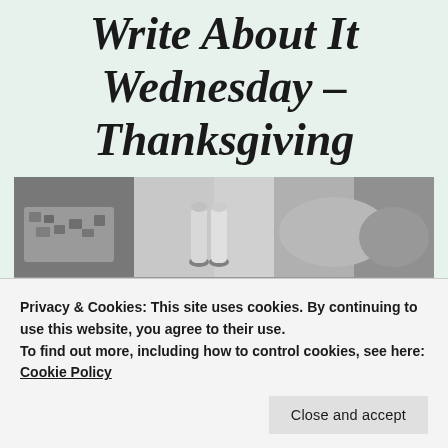Write About It Wednesday – Thanksgiving
[Figure (photo): Black and white photograph of a Thanksgiving table setting with food items including what appears to be stuffing, salt and pepper shakers, and various dishes.]
Privacy & Cookies: This site uses cookies. By continuing to use this website, you agree to their use.
To find out more, including how to control cookies, see here: Cookie Policy
Close and accept